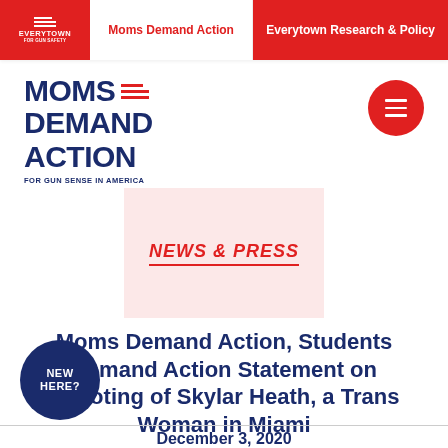Everytown for Gun Safety | Moms Demand Action | Everytown Research & Policy
[Figure (logo): Moms Demand Action logo — bold navy blue text with red horizontal lines, tagline FOR GUN SENSE IN AMERICA]
[Figure (illustration): Red circle hamburger menu button]
[Figure (illustration): Light pink rectangle with NEWS & PRESS stamp text in red italic uppercase]
Moms Demand Action, Students Demand Action Statement on Shooting of Skylar Heath, a Trans Woman in Miami
[Figure (illustration): Dark blue circle button with NEW HERE? text in white]
December 3, 2020